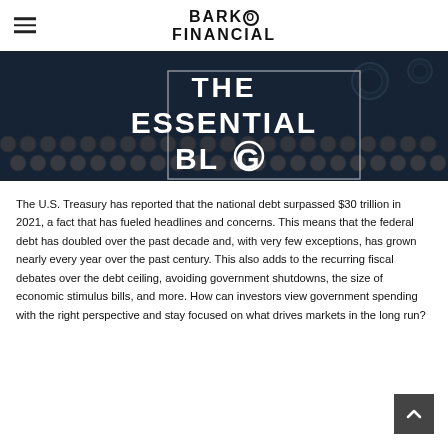BARKO FINANCIAL
[Figure (photo): Dark photographic banner of a vintage typewriter keyboard with white bold text overlay reading 'THE ESSENTIAL BLOG']
The U.S. Treasury has reported that the national debt surpassed $30 trillion in 2021, a fact that has fueled headlines and concerns. This means that the federal debt has doubled over the past decade and, with very few exceptions, has grown nearly every year over the past century. This also adds to the recurring fiscal debates over the debt ceiling, avoiding government shutdowns, the size of economic stimulus bills, and more. How can investors view government spending with the right perspective and stay focused on what drives markets in the long run?